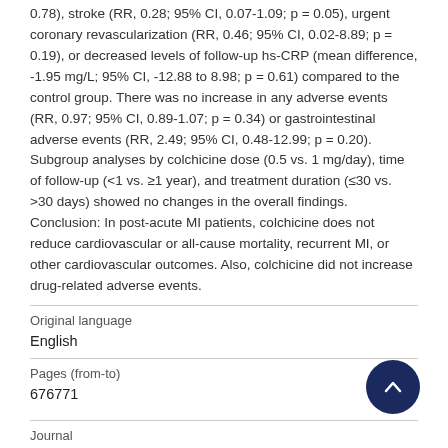0.78), stroke (RR, 0.28; 95% CI, 0.07-1.09; p = 0.05), urgent coronary revascularization (RR, 0.46; 95% CI, 0.02-8.89; p = 0.19), or decreased levels of follow-up hs-CRP (mean difference, -1.95 mg/L; 95% CI, -12.88 to 8.98; p = 0.61) compared to the control group. There was no increase in any adverse events (RR, 0.97; 95% CI, 0.89-1.07; p = 0.34) or gastrointestinal adverse events (RR, 2.49; 95% CI, 0.48-12.99; p = 0.20). Subgroup analyses by colchicine dose (0.5 vs. 1 mg/day), time of follow-up (<1 vs. ≥1 year), and treatment duration (≤30 vs. >30 days) showed no changes in the overall findings. Conclusion: In post-acute MI patients, colchicine does not reduce cardiovascular or all-cause mortality, recurrent MI, or other cardiovascular outcomes. Also, colchicine did not increase drug-related adverse events.
Original language
English
Pages (from-to)
676771
Journal